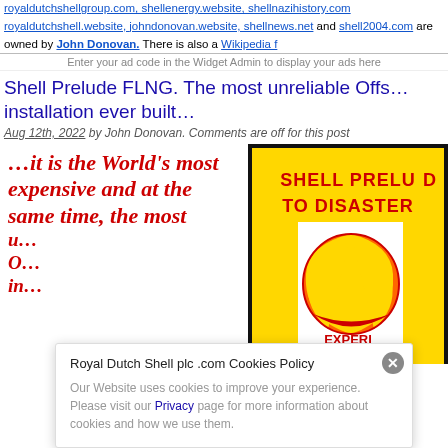royaldutchshellgroup.com, shellenergy.website, shellnazihistory.com royaldutchshell.website, johndonovan.website, shellnews.net and shell2004.com are owned by John Donovan. There is also a Wikipedia f…
Shell Prelude FLNG. The most unreliable Offs… installation ever built…
Aug 12th, 2022 by John Donovan. Comments are off for this post
…it is the World's most expensive and at the same time, the most u… O… in…
[Figure (photo): Shell Prelude To Disaster sign with Shell logo on yellow background]
Royal Dutch Shell plc .com Cookies Policy
Our Website uses cookies to improve your experience. Please visit our Privacy page for more information about cookies and how we use them.